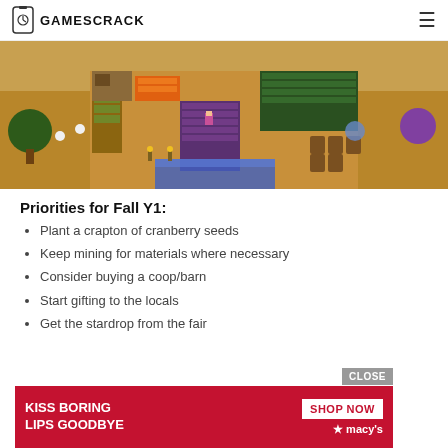GAMESCRACK
[Figure (screenshot): Stardew Valley farm aerial view showing crops, characters, barrels, and water features in pixel art style]
Priorities for Fall Y1:
Plant a crapton of cranberry seeds
Keep mining for materials where necessary
Consider buying a coop/barn
Start gifting to the locals
Get the stardrop from the fair
[Figure (photo): Macy's advertisement banner: KISS BORING LIPS GOODBYE with SHOP NOW button and Macy's star logo, red background with woman's lips]